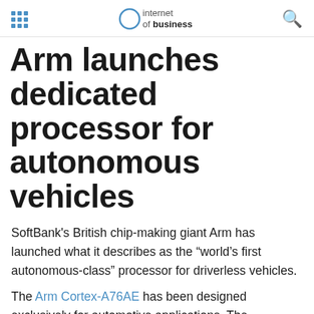internet of business
Arm launches dedicated processor for autonomous vehicles
SoftBank's British chip-making giant Arm has launched what it describes as the “world’s first autonomous-class” processor for driverless vehicles.
The Arm Cortex-A76AE has been designed exclusively for automotive applications. The processor is the first in Arm’s new Automotive Enhanced (AE) line and includes specific features for in-vehicle processing.
The...